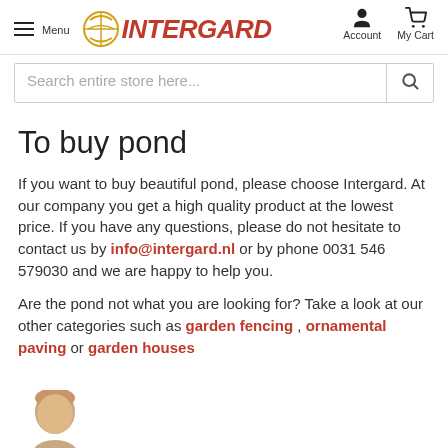Menu | INTERGARD | Account | My Cart
Search entire store here...
To buy pond
If you want to buy beautiful pond, please choose Intergard. At our company you get a high quality product at the lowest price. If you have any questions, please do not hesitate to contact us by info@intergard.nl or by phone 0031 546 579030 and we are happy to help you.
Are the pond not what you are looking for? Take a look at our other categories such as garden fencing , ornamental paving or garden houses
[Figure (photo): Partial photo of a person (head/shoulders), cropped at bottom of page]